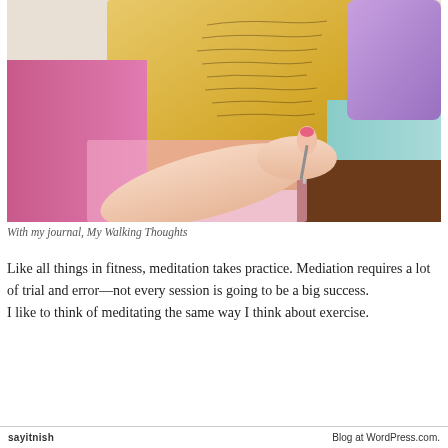[Figure (photo): A photo of a person's hand holding a pen over a yellow journal/notebook with handwritten text. Colorful fabrics visible in the background including pink and teal patterns.]
With my journal, My Walking Thoughts
Like all things in fitness, meditation takes practice. Mediation requires a lot of trial and error—not every session is going to be a big success. I like to think of meditating the same way I think about exercise.
sayitnish    Blog at WordPress.com.